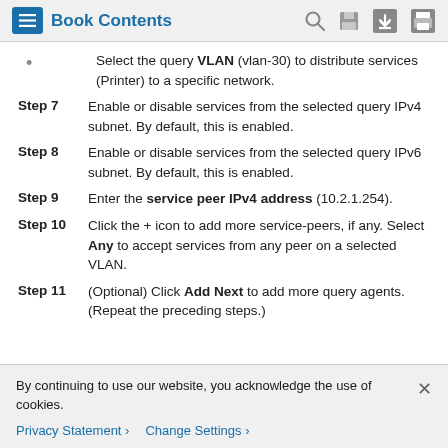Book Contents
Select the query VLAN (vlan-30) to distribute services (Printer) to a specific network.
Step 7 — Enable or disable services from the selected query IPv4 subnet. By default, this is enabled.
Step 8 — Enable or disable services from the selected query IPv6 subnet. By default, this is enabled.
Step 9 — Enter the service peer IPv4 address (10.2.1.254).
Step 10 — Click the + icon to add more service-peers, if any. Select Any to accept services from any peer on a selected VLAN.
Step 11 — (Optional) Click Add Next to add more query agents. (Repeat the preceding steps.)
By continuing to use our website, you acknowledge the use of cookies.
Privacy Statement > Change Settings >